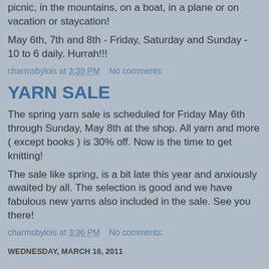picnic, in the mountains, on a boat, in a plane or on vacation or staycation!
May 6th, 7th and 8th - Friday, Saturday and Sunday - 10 to 6 daily. Hurrah!!!
charmsbylois at 3:39 PM   No comments:
YARN SALE
The spring yarn sale is scheduled for Friday May 6th through Sunday, May 8th at the shop. All yarn and more ( except books ) is 30% off. Now is the time to get knitting!
The sale like spring, is a bit late this year and anxiously awaited by all. The selection is good and we have fabulous new yarns also included in the sale. See you there!
charmsbylois at 3:36 PM   No comments:
WEDNESDAY, MARCH 16, 2011